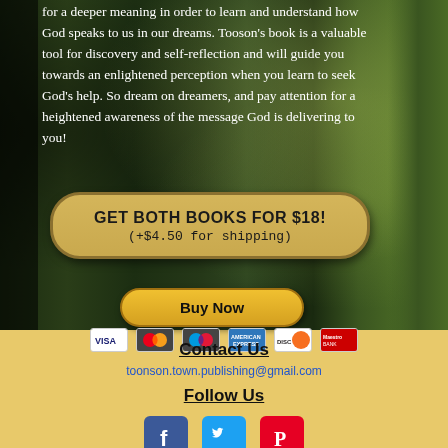for a deeper meaning in order to learn and understand how God speaks to us in our dreams. Tooson's book is a valuable tool for discovery and self-reflection and will guide you towards an enlightened perception when you learn to seek God's help. So dream on dreamers, and pay attention for a heightened awareness of the message God is delivering to you!
GET BOTH BOOKS FOR $18!
(+$4.50 for shipping)
Buy Now
Contact Us
toonson.town.publishing@gmail.com
Follow Us